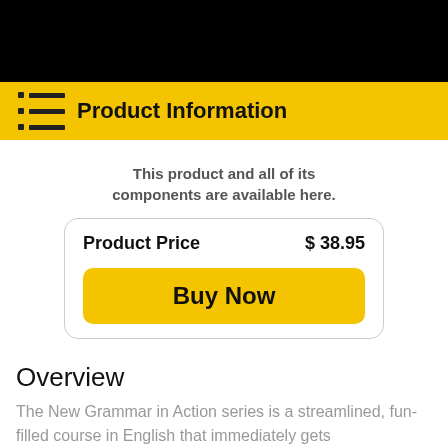Product Information
This product and all of its components are available here.
| Product Price | $ 38.95 |
| --- | --- |
| Buy Now |  |
Overview
The New Grammar in Action series is a streamlined, fun-filled course in English that immediately gets